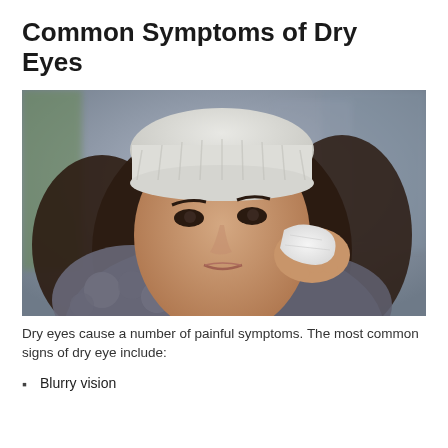Common Symptoms of Dry Eyes
[Figure (photo): A young woman wearing a white knit beanie and a grey fur-collared coat holds a tissue to her eye, appearing distressed. Outdoor urban background, blurred.]
Dry eyes cause a number of painful symptoms. The most common signs of dry eye include:
Blurry vision